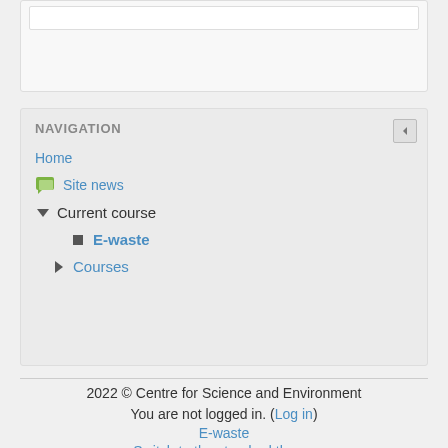[Figure (screenshot): Top card with a white input/content box inside a light gray rounded panel]
NAVIGATION
Home
Site news
Current course
E-waste
Courses
2022 © Centre for Science and Environment
You are not logged in. (Log in)
E-waste
Switch to the standard theme